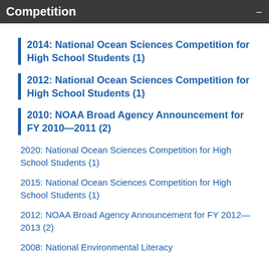Competition
2014: National Ocean Sciences Competition for High School Students (1)
2012: National Ocean Sciences Competition for High School Students (1)
2010: NOAA Broad Agency Announcement for FY 2010—2011 (2)
2020: National Ocean Sciences Competition for High School Students (1)
2015: National Ocean Sciences Competition for High School Students (1)
2012: NOAA Broad Agency Announcement for FY 2012—2013 (2)
2008: National Environmental Literacy